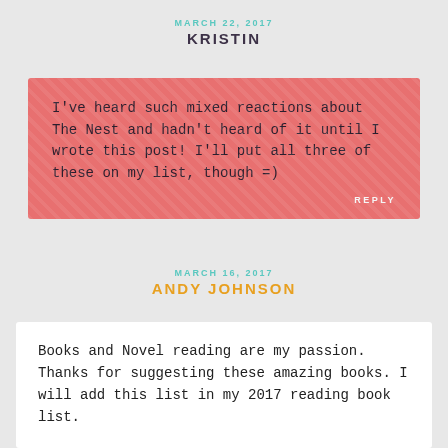MARCH 22, 2017
KRISTIN
I've heard such mixed reactions about The Nest and hadn't heard of it until I wrote this post! I'll put all three of these on my list, though =)
REPLY
MARCH 16, 2017
ANDY JOHNSON
Books and Novel reading are my passion. Thanks for suggesting these amazing books. I will add this list in my 2017 reading book list.